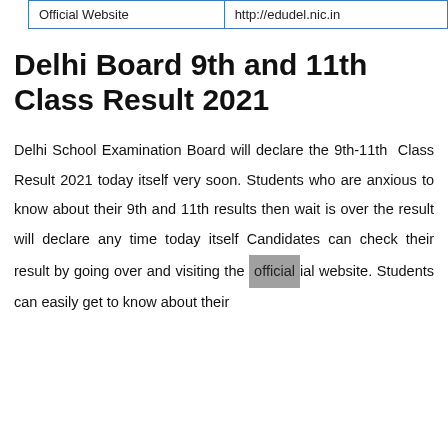| Official Website | http://edudel.nic.in |
| --- | --- |
Delhi Board 9th and 11th Class Result 2021
Delhi School Examination Board will declare the 9th-11th Class Result 2021 today itself very soon. Students who are anxious to know about their 9th and 11th results then wait is over the result will declare any time today itself Candidates can check their result by going over and visiting the official website. Students can easily get to know about their